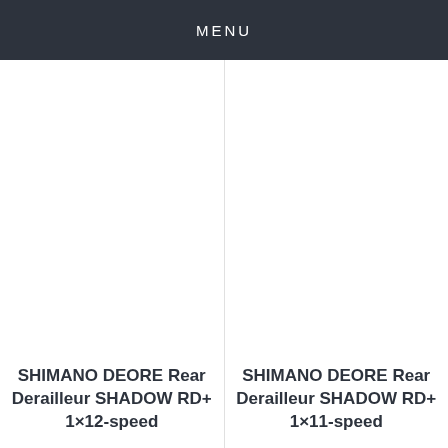MENU
SHIMANO DEORE Rear Derailleur SHADOW RD+ 1×12-speed
SHIMANO DEORE Rear Derailleur SHADOW RD+ 1×11-speed